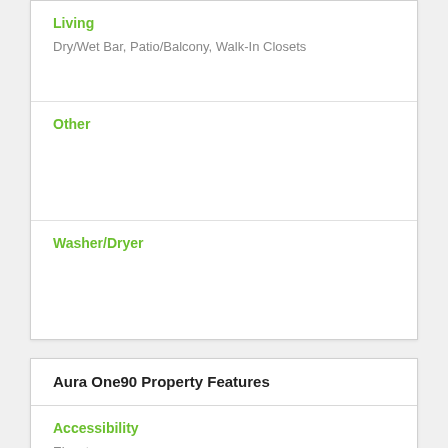Living
Dry/Wet Bar, Patio/Balcony, Walk-In Closets
Other
Washer/Dryer
Aura One90 Property Features
Accessibility
Elevators